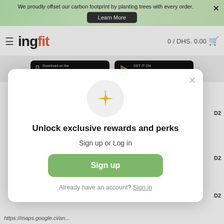We proudly offset our carbon footprint by planting trees with every order.
[Figure (logo): ingFit logo with hamburger menu and cart showing 0 / DHS. 0.00]
[Figure (screenshot): App Store and Google Play download buttons]
[Figure (screenshot): Modal popup: sparkle icon, Unlock exclusive rewards and perks, Sign up or Log in button, Already have an account? Sign in link]
Unlock exclusive rewards and perks
Sign up or Log in
Sign up
Already have an account? Sign in
https://maps.google.ci/an...